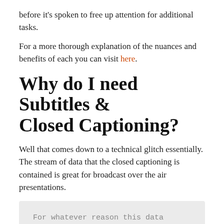before it's spoken to free up attention for additional tasks.
For a more thorough explanation of the nuances and benefits of each you can visit here.
Why do I need Subtitles & Closed Captioning?
Well that comes down to a technical glitch essentially. The stream of data that the closed captioning is contained is great for broadcast over the air presentations.
For whatever reason this data stream is not passed through HDMI cables.
This is a huge problem as the vast majority of video